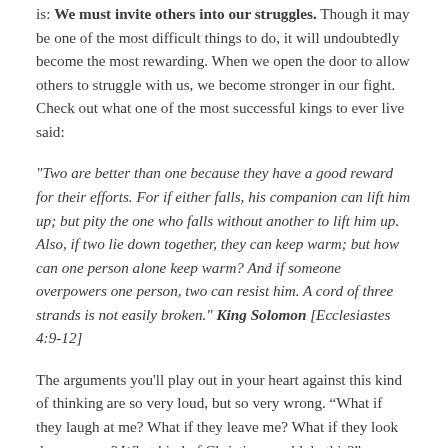is: We must invite others into our struggles. Though it may be one of the most difficult things to do, it will undoubtedly become the most rewarding. When we open the door to allow others to struggle with us, we become stronger in our fight. Check out what one of the most successful kings to ever live said:
"Two are better than one because they have a good reward for their efforts. For if either falls, his companion can lift him up; but pity the one who falls without another to lift him up. Also, if two lie down together, they can keep warm; but how can one person alone keep warm? And if someone overpowers one person, two can resist him. A cord of three strands is not easily broken." King Solomon [Ecclesiastes 4:9-12]
The arguments you'll play out in your heart against this kind of thinking are so very loud, but so very wrong. “What if they laugh at me? What if they leave me? What if they look down on me? What kind of Christian would do this?”
I've asked myself every one of those questions. But time after time, when I refuse to listen to those lies, and instead believe that